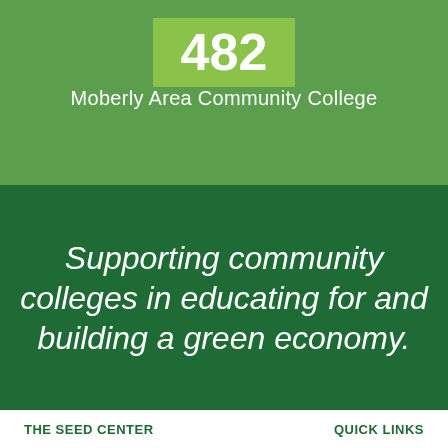482
Moberly Area Community College
Supporting community colleges in educating for and building a green economy.
THE SEED CENTER
QUICK LINKS